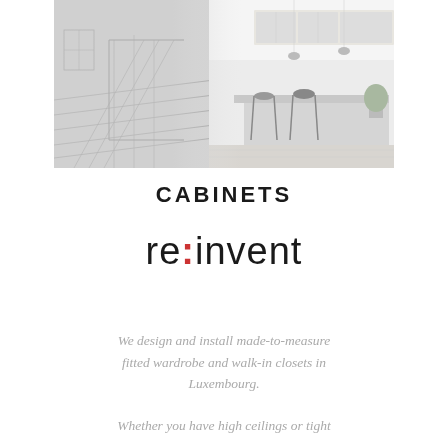[Figure (photo): Interior design composite image showing a sketch/blueprint of a staircase and deck on the left transitioning to a real modern kitchen and dining area on the right, with chairs and counter seating, light-filled space with high ceilings]
CABINETS
re:invent
We design and install made-to-measure fitted wardrobe and walk-in closets in Luxembourg.
Whether you have high ceilings or tight